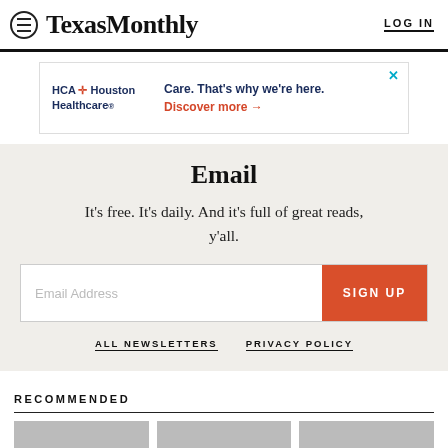Texas Monthly  LOG IN
[Figure (other): HCA Houston Healthcare advertisement banner: 'Care. That's why we're here. Discover more →']
Email
It's free. It's daily. And it's full of great reads, y'all.
Email Address  SIGN UP
ALL NEWSLETTERS   PRIVACY POLICY
RECOMMENDED